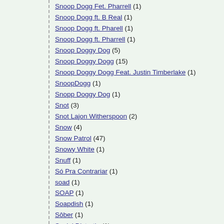Snoop Dogg Fet. Pharrell (1)
Snoop Dogg ft. B Real (1)
Snoop Dogg ft. Pharell (1)
Snoop Dogg ft. Pharrell (1)
Snoop Doggy Dog (5)
Snoop Doggy Dogg (15)
Snoop Doggy Dogg Feat. Justin Timberlake (1)
SnoopDogg (1)
Snopp Doggy Dog (1)
Snot (3)
Snot Lajon Witherspoon (2)
Snow (4)
Snow Patrol (47)
Snowy White (1)
Snuff (1)
Só Pra Contrariar (1)
soad (1)
SOAP (1)
Soapdish (1)
Sôber (1)
Social Distortio (1)
Social Distortion (13)
Socialburn (3)